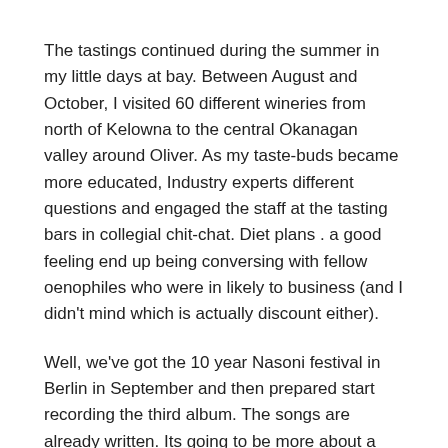The tastings continued during the summer in my little days at bay. Between August and October, I visited 60 different wineries from north of Kelowna to the central Okanagan valley around Oliver. As my taste-buds became more educated, Industry experts different questions and engaged the staff at the tasting bars in collegial chit-chat. Diet plans . a good feeling end up being conversing with fellow oenophiles who were in likely to business (and I didn't mind which is actually discount either).
Well, we've got the 10 year Nasoni festival in Berlin in September and then prepared start recording the third album. The songs are already written. Its going to be more about a mystical album by using a very Autumnal actually feel. I'm going to go for even more acidy folk that i first dabbled with on 'Beltane queen' from 'Albion'. There' mastermindmushrooms gonna be mandolin's, bazouki's, flutes and banjo's in available. Old style moogs and freaked-out country as well although prog-rock epics.